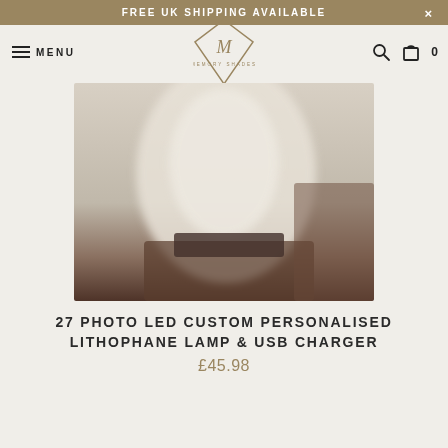FREE UK SHIPPING AVAILABLE
[Figure (logo): Memory Shades logo — diamond shape with M and text MEMORY SHADES]
[Figure (photo): Blurred photo of a cylindrical lithophane lamp on a table in a room]
27 PHOTO LED CUSTOM PERSONALISED LITHOPHANE LAMP & USB CHARGER
£45.98